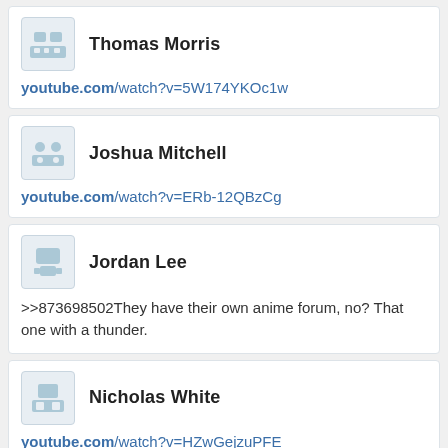Thomas Morris
youtube.com/watch?v=5W174YKOc1w
Joshua Mitchell
youtube.com/watch?v=ERb-12QBzCg
Jordan Lee
>>873698502They have their own anime forum, no? That one with a thunder.
Nicholas White
youtube.com/watch?v=HZwGejzuPFE
Ian Gonzalez